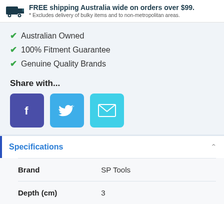FREE shipping Australia wide on orders over $99. * Excludes delivery of bulky items and to non-metropolitan areas.
✔ Australian Owned
✔ 100% Fitment Guarantee
✔ Genuine Quality Brands
Share with...
[Figure (infographic): Social share buttons: Facebook (purple), Twitter (blue), Email (cyan)]
Specifications
|  |  |
| --- | --- |
| Brand | SP Tools |
| Depth (cm) | 3 |